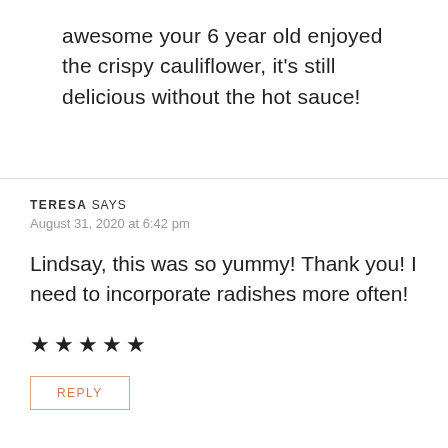awesome your 6 year old enjoyed the crispy cauliflower, it's still delicious without the hot sauce!
TERESA SAYS
August 31, 2020 at 6:42 pm
Lindsay, this was so yummy! Thank you! I need to incorporate radishes more often!
★★★★★
REPLY